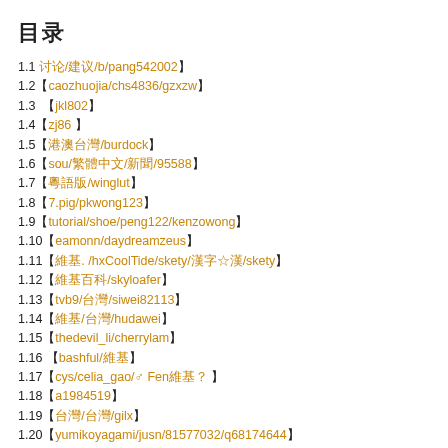目录
1.1 讨论/建议/b/pang542002
1.2 caozhuojia/chs4836/gzxzw
1.3  jkl802
1.4 zj86
1.5 港澳台灣/burdock
1.6 sou/繁體中文/新聞/95588
1.7 粵語版/winglut
1.8 7.pig/pkwong123
1.9 tutorial/shoe/peng122/kenzowong
1.10 eamonn/daydreamzeus
1.11 維基. /hxCoolTide/skety/漢字☆漢/skety
1.12 維基百科/skyloafer
1.13 tvb9/台灣/siwei82113
1.14 維基/台灣/hudawei
1.15 thedevil_li/cherrylam
1.16  bashful/維基
1.17 cys/celia_gao/♂ Fen維基？
1.18 a1984519
1.19 台灣/台灣/gilx
1.20 yumikoyagami/jusn/81577032/q68174644
1.21 維基/ha1ha2/everywu
1.22 don888
1.23 tteng_lee/tcby999/jerrychou
1.24 chen9124/Kents